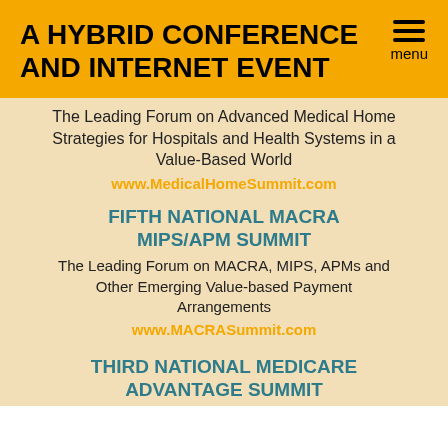A HYBRID CONFERENCE AND INTERNET EVENT
The Leading Forum on Advanced Medical Home Strategies for Hospitals and Health Systems in a Value-Based World
www.MedicalHomeSummit.com
FIFTH NATIONAL MACRA MIPS/APM SUMMIT
The Leading Forum on MACRA, MIPS, APMs and Other Emerging Value-based Payment Arrangements
www.MACRASummit.com
THIRD NATIONAL MEDICARE ADVANTAGE SUMMIT
The Leading Forum on Medicare Advantage Plan/Provider Relationships
www.MedicareAdvantageSummit.com